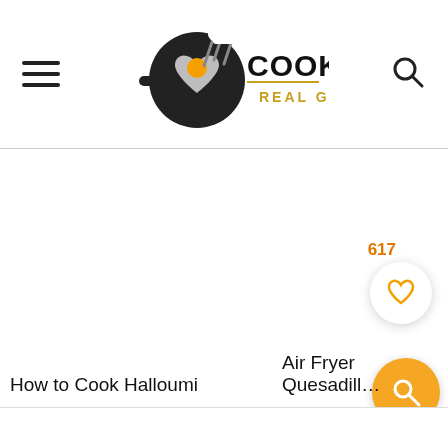[Figure (logo): Cook It Real Good logo — frying pan with heart and cooking utensils, text COOK IT in black bold and REAL GOOD in gold/orange below]
How to Cook Halloumi
Air Fryer Quesadill...
617